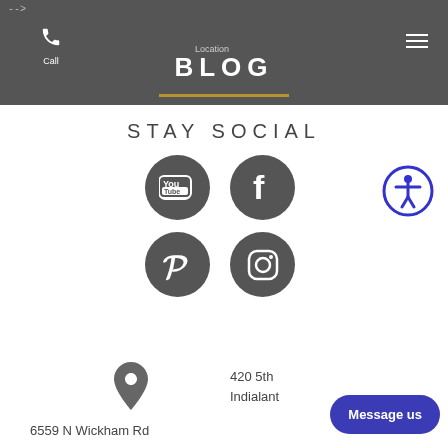-->
Call  Location
BLOG
STAY SOCIAL
[Figure (illustration): Social media icons: YouTube, Facebook, Pinterest, Instagram circles and an accessibility icon]
6559 N Wickham Rd
420 5th
Indialant
Message us